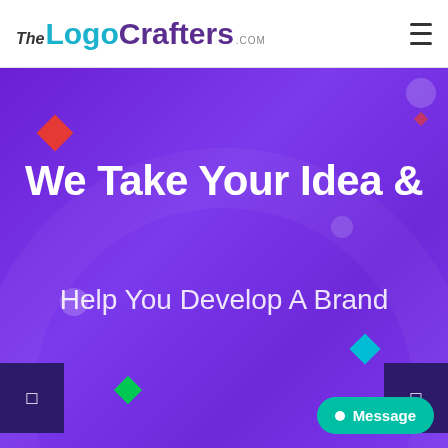[Figure (logo): TheLogoCrafters.com logo in header, with cyan 'Logo' and purple 'Crafters' text]
We Take Your Idea &
Help You Develop A Brand
[Figure (infographic): Purple hero banner with decorative diamonds (red, teal, green), circles, side navigation arrows, and a teal Message button]